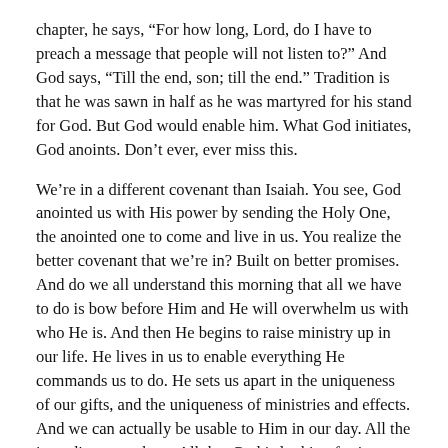chapter, he says, “For how long, Lord, do I have to preach a message that people will not listen to?” And God says, “Till the end, son; till the end.” Tradition is that he was sawn in half as he was martyred for his stand for God. But God would enable him. What God initiates, God anoints. Don’t ever, ever miss this.
We’re in a different covenant than Isaiah. You see, God anointed us with His power by sending the Holy One, the anointed one to come and live in us. You realize the better covenant that we’re in? Built on better promises. And do we all understand this morning that all we have to do is bow before Him and He will overwhelm us with who He is. And then He begins to raise ministry up in our life. He lives in us to enable everything He commands us to do. He sets us apart in the uniqueness of our gifts, and the uniqueness of ministries and effects. And we can actually be usable to Him in our day. All the ingredients are there. All that God is looking for is our willingness to yield to Him and He will divinely use us for His purposes. What God initiates, God anoints.
Can I ask you a question this morning, what’s God doing in your life? Is the fog still setting in there? Everything is chaotic? Nobody is right in the body of Christ, but you; and if people